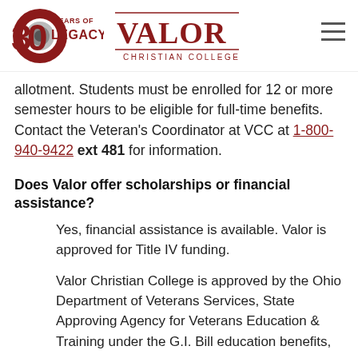30 Years of Legacy | Valor Christian College
allotment. Students must be enrolled for 12 or more semester hours to be eligible for full-time benefits. Contact the Veteran's Coordinator at VCC at 1-800-940-9422 ext 481 for information.
Does Valor offer scholarships or financial assistance?
Yes, financial assistance is available. Valor is approved for Title IV funding.
Valor Christian College is approved by the Ohio Department of Veterans Services, State Approving Agency for Veterans Education & Training under the G.I. Bill education benefits,